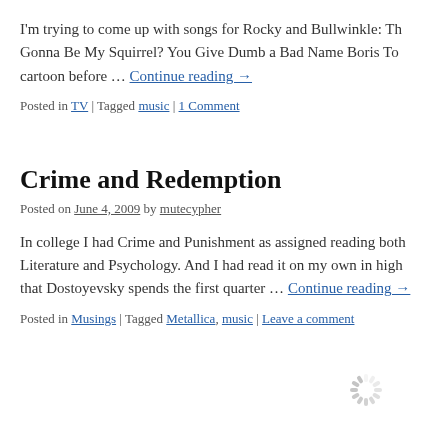I'm trying to come up with songs for Rocky and Bullwinkle: Th Gonna Be My Squirrel? You Give Dumb a Bad Name Boris To cartoon before … Continue reading →
Posted in TV | Tagged music | 1 Comment
Crime and Redemption
Posted on June 4, 2009 by mutecypher
In college I had Crime and Punishment as assigned reading both Literature and Psychology. And I had read it on my own in high that Dostoyevsky spends the first quarter … Continue reading →
Posted in Musings | Tagged Metallica, music | Leave a comment